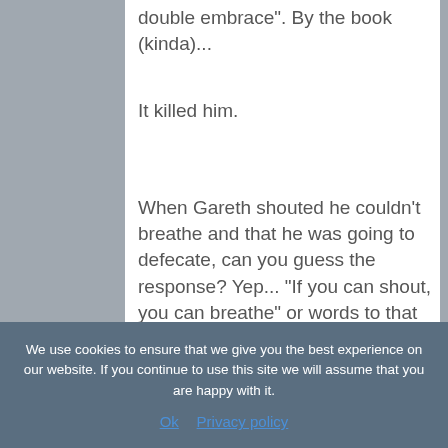double embrace". By the book (kinda)...
It killed him.
When Gareth shouted he couldn't breathe and that he was going to defecate, can you guess the response? Yep... "If you can shout, you can breathe" or words to that effect. Gareth did defecate, then vomit... and then choke on his vomit.
Accidental death was the ruling.
We use cookies to ensure that we give you the best experience on our website. If you continue to use this site we will assume that you are happy with it.
Ok   Privacy policy